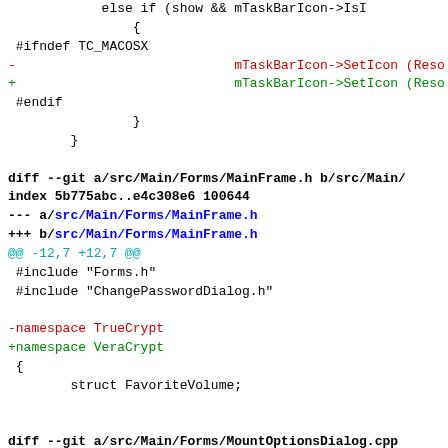diff code fragment showing changes from TrueCrypt to VeraCrypt in MainFrame.h and MountOptionsDialog.cpp